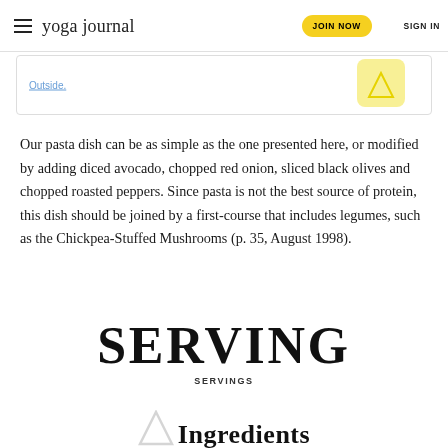yoga journal | JOIN NOW | SIGN IN
[Figure (other): Promotional banner with link text 'Outside.' and a yellow icon on the right]
Our pasta dish can be as simple as the one presented here, or modified by adding diced avocado, chopped red onion, sliced black olives and chopped roasted peppers. Since pasta is not the best source of protein, this dish should be joined by a first-course that includes legumes, such as the Chickpea-Stuffed Mushrooms (p. 35, August 1998).
SERVING
SERVINGS
Ingredients